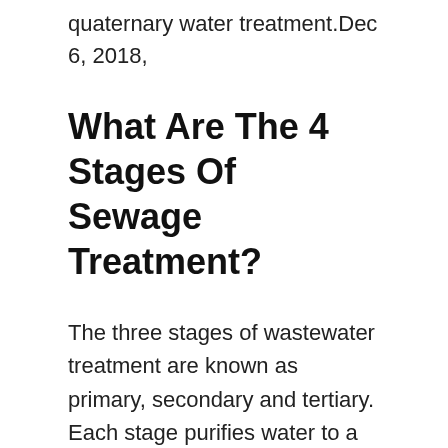quaternary water treatment.Dec 6, 2018,
What Are The 4 Stages Of Sewage Treatment?
The three stages of wastewater treatment are known as primary, secondary and tertiary. Each stage purifies water to a higher level. In some applications, only one or two stages are necessary. The level of treatment necessary depends on the water's intended use case, and what